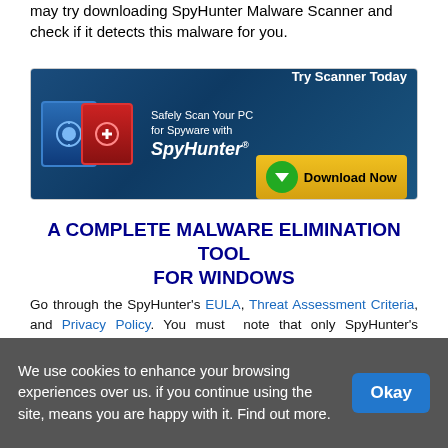may try downloading SpyHunter Malware Scanner and check if it detects this malware for you.
[Figure (screenshot): SpyHunter advertisement banner: 'Safely Scan Your PC for Spyware with SpyHunter' and 'Try Scanner Today' with a 'Download Now' button]
A COMPLETE MALWARE ELIMINATION TOOL FOR WINDOWS
Go through the SpyHunter's EULA, Threat Assessment Criteria, and Privacy Policy. You must note that only SpyHunter's scanner is free. If it detects a malware, it will subject to a 48-hour waiting period, one remediation and removal. In order to remove the malware instantly, you have to purchase its full version.
Steps To Remove Andalbrighth.pro From
We use cookies to enhance your browsing experiences over us. if you continue using the site, means you are happy with it. Find out more.